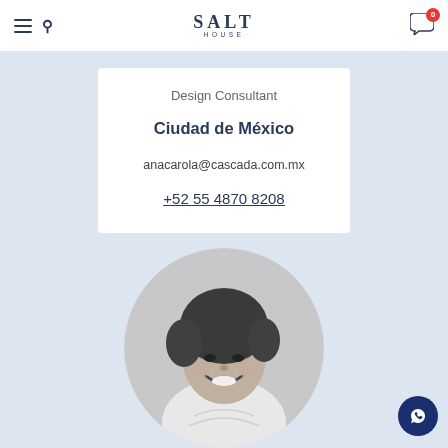SALT HOUSE
Design Consultant
Ciudad de México
anacarola@cascada.com.mx
+52 55 4870 8208
[Figure (photo): Black and white circular portrait photo of a smiling woman with curly hair wearing a white lace top]